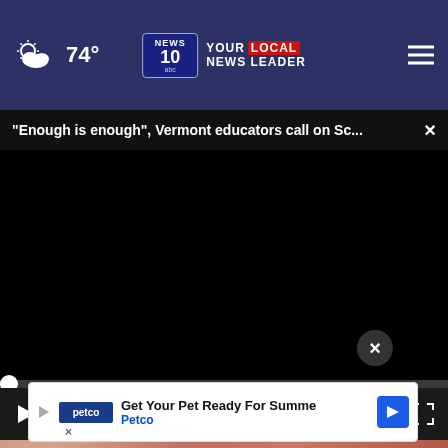74° — NEWS 10 YOUR LOCAL NEWS LEADER
"Enough is enough", Vermont educators call on Sc...  ×
[Figure (screenshot): Black video player area (paused/loading state)]
[Figure (screenshot): Video player controls: play button, mute button, timestamp 00:00, captions button, fullscreen button]
[Figure (photo): Close-up of a cat's face/fur visible behind advertisement overlay]
[Figure (infographic): Petco advertisement: 'Get Your Pet Ready For Summe' with Petco branding and directional arrow icon]